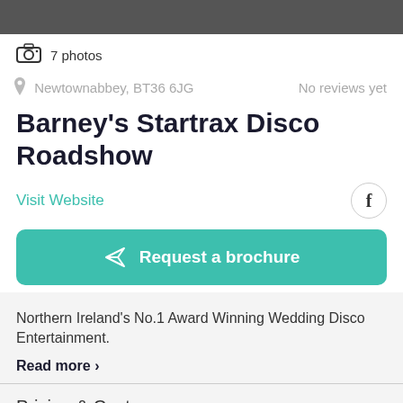[Figure (photo): Dark/grey photo bar at top of page]
7 photos
Newtownabbey, BT36 6JG
No reviews yet
Barney's Startrax Disco Roadshow
Visit Website
Request a brochure
Northern Ireland's No.1 Award Winning Wedding Disco Entertainment.
Read more >
Pricing & Costs
Prices start at